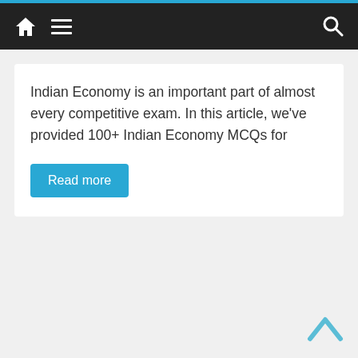Home | Menu | Search
Indian Economy is an important part of almost every competitive exam. In this article, we've provided 100+ Indian Economy MCQs for
Read more